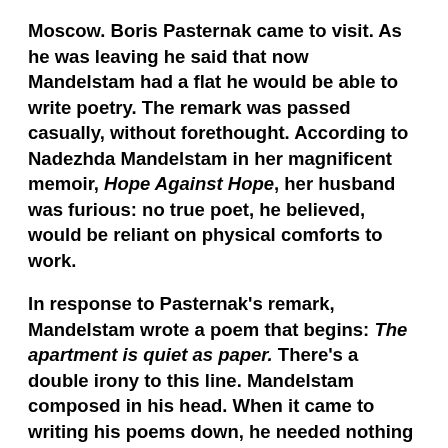Moscow. Boris Pasternak came to visit. As he was leaving he said that now Mandelstam had a flat he would be able to write poetry. The remark was passed casually, without forethought. According to Nadezhda Mandelstam in her magnificent memoir, Hope Against Hope, her husband was furious: no true poet, he believed, would be reliant on physical comforts to work.
In response to Pasternak's remark, Mandelstam wrote a poem that begins: The apartment is quiet as paper. There's a double irony to this line. Mandelstam composed in his head. When it came to writing his poems down, he needed nothing more than a few minutes, paper, pen and a scrap of bench; mostly the actual writing down was done by his wife, or occasionally someone else. An apartment as quiet as paper. Those words are steeped in threats: with the ubiquity of informers, all walls had finely